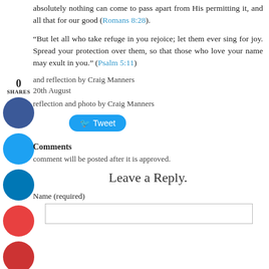absolutely nothing can come to pass apart from His permitting it, and all that for our good (Romans 8:28).
"But let all who take refuge in you rejoice; let them ever sing for joy. Spread your protection over them, so that those who love your name may exult in you." (Psalm 5:11)
and reflection by Craig Manners
20th August
reflection and photo by Craig Manners
[Figure (other): Tweet button]
Comments
comment will be posted after it is approved.
Leave a Reply.
Name (required)